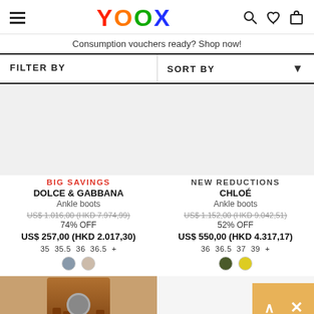YOOX
Consumption vouchers ready? Shop now!
FILTER BY | SORT BY
BIG SAVINGS
DOLCE & GABBANA
Ankle boots
US$ 1.016,00 (HKD 7.974,99)
74% OFF
US$ 257,00 (HKD 2.017,30)
35  35.5  36  36.5  +
NEW REDUCTIONS
CHLOÉ
Ankle boots
US$ 1.152,00 (HKD 9.042,51)
52% OFF
US$ 550,00 (HKD 4.317,17)
36  36.5  37  39  +